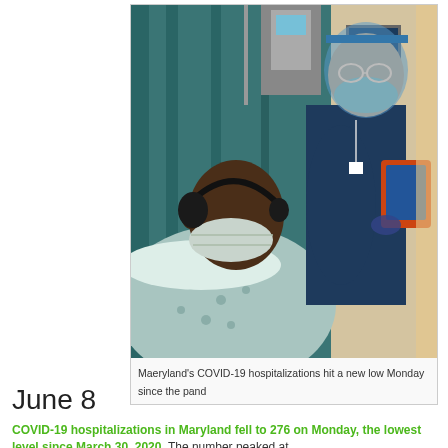[Figure (photo): A hospital patient lying in a bed wearing a face mask and headset, with a nurse in PPE including face shield and mask standing beside them holding a tablet device. Hospital equipment visible in background.]
Maeryland's COVID-19 hospitalizations hit a new low Monday since the pand
June 8
COVID-19 hospitalizations in Maryland fell to 276 on Monday, the lowest level since March 30, 2020. The number peaked at